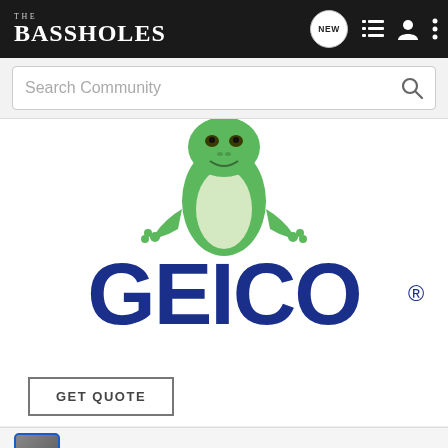THE BASSHOLES
Search Community
[Figure (logo): GEICO insurance advertisement featuring the GEICO gecko mascot (green lizard) posed above the large dark blue GEICO wordmark with registered trademark symbol]
GET QUOTE
Jared · Premium Member 🇺🇸